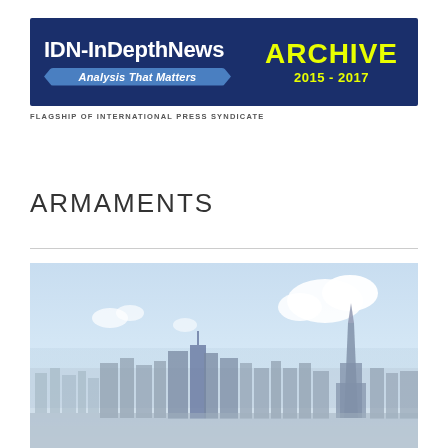[Figure (logo): IDN-InDepthNews banner with 'Analysis That Matters' tagline and 'ARCHIVE 2015-2017' text on dark blue background]
FLAGSHIP OF INTERNATIONAL PRESS SYNDICATE
ARMAMENTS
[Figure (photo): Aerial cityscape photograph showing a dense urban skyline with skyscrapers, hazy blue sky with clouds, and a prominent tall tower visible on the right side — appears to be Pyongyang, North Korea]